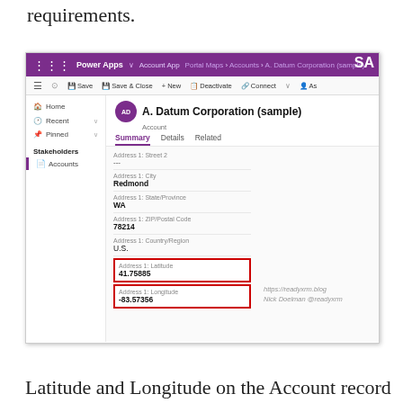requirements.
[Figure (screenshot): Microsoft Power Apps screenshot showing A. Datum Corporation (sample) Account record with address fields including Address 1: Latitude (41.75885) and Address 1: Longitude (-83.57356) highlighted in red boxes. Navigation bar shows Power Apps with Portal Maps > Accounts > A. Datum Corporation (sample) breadcrumb. Left sidebar shows Home, Recent, Pinned, Stakeholders, Accounts. Summary tab is active showing address fields: Address 1: Street 2 (---), City (Redmond), State/Province (WA), ZIP/Postal Code (78214), Country/Region (U.S.), Latitude (41.75885), Longitude (-83.57356). Bottom right shows https://readyxrm.blog and Nick Doelman @readyxrm.]
Latitude and Longitude on the Account record